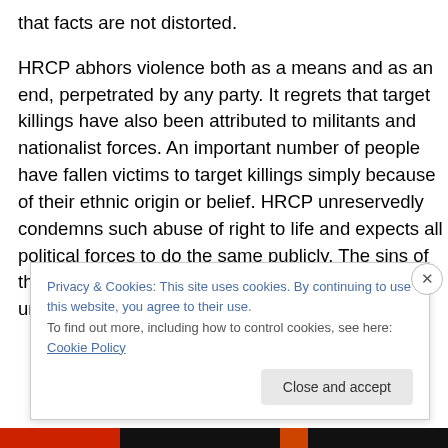that facts are not distorted.
HRCP abhors violence both as a means and as an end, perpetrated by any party. It regrets that target killings have also been attributed to militants and nationalist forces. An important number of people have fallen victims to target killings simply because of their ethnic origin or belief. HRCP unreservedly condemns such abuse of right to life and expects all political forces to do the same publicly. The sins of the federal government must not be visited on unarmed and innocent citizens.
Privacy & Cookies: This site uses cookies. By continuing to use this website, you agree to their use.
To find out more, including how to control cookies, see here: Cookie Policy